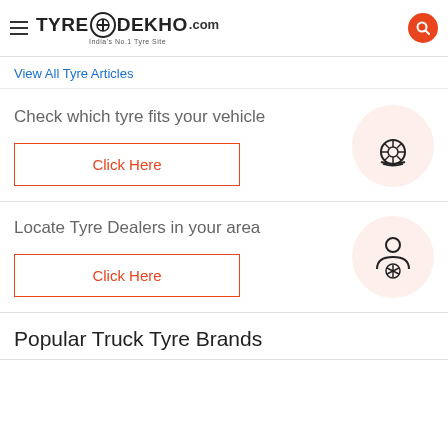TyreDekho.com — India's No.1 Tyre Site
View All Tyre Articles
Check which tyre fits your vehicle
Click Here
[Figure (illustration): Tyre/wheel icon on a beige circle background]
Locate Tyre Dealers in your area
Click Here
[Figure (illustration): Tyre dealer/person with badge icon on a beige circle background]
Popular Truck Tyre Brands